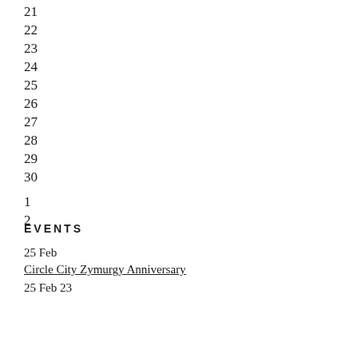21
22
23
24
25
26
27
28
29
30
1
2
EVENTS
25 Feb
Circle City Zymurgy Anniversary
25 Feb 23